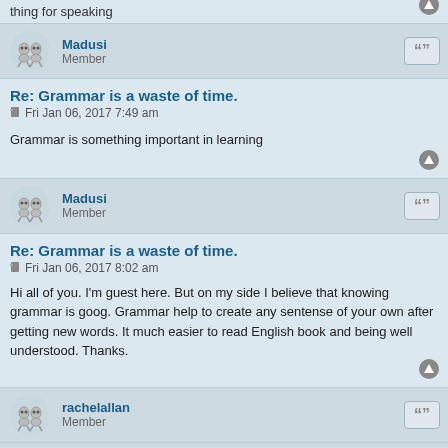thing for speaking
Madusi
Member
Re: Grammar is a waste of time.
Fri Jan 06, 2017 7:49 am
Grammar is something important in learning
Madusi
Member
Re: Grammar is a waste of time.
Fri Jan 06, 2017 8:02 am
Hi all of you. I'm guest here. But on my side I believe that knowing grammar is goog. Grammar help to create any sentense of your own after getting new words. It much easier to read English book and being well understood. Thanks.
rachelallan
Member